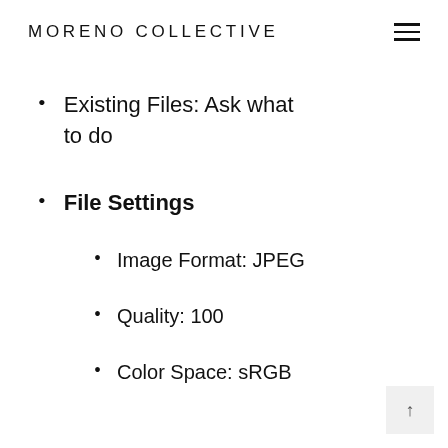MORENO COLLECTIVE
Existing Files: Ask what to do
File Settings
Image Format: JPEG
Quality: 100
Color Space: sRGB